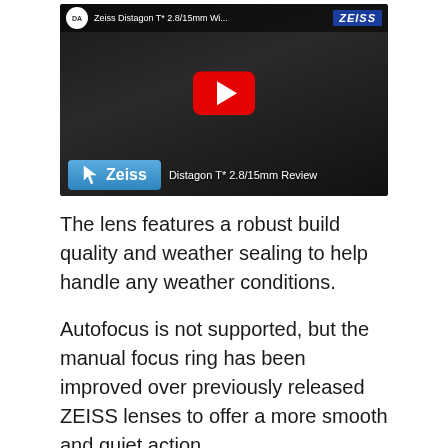[Figure (screenshot): YouTube video thumbnail for 'Zeiss Distagon T* 2.8/15mm Wi...' showing a camera lens in dark background with a large red YouTube play button in the center. Bottom overlay shows a blue 'Zeiss' tag with a cursor icon and text 'Distagon T* 2.8/15mm Review'. Top-right shows ZEISS logo in blue.]
The lens features a robust build quality and weather sealing to help handle any weather conditions.
Autofocus is not supported, but the manual focus ring has been improved over previously released ZEISS lenses to offer a more smooth and quiet action